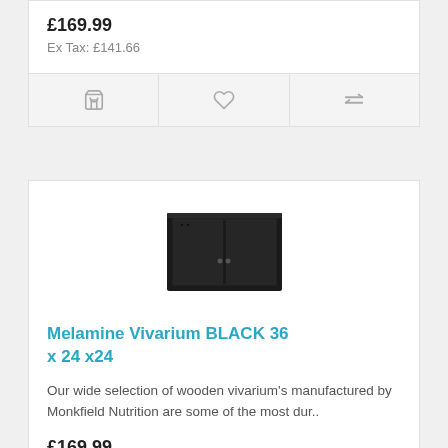£169.99
Ex Tax: £141.66
[Figure (screenshot): Black melamine vivarium product image]
Melamine Vivarium BLACK 36 x 24 x24
Our wide selection of wooden vivarium's manufactured by Monkfield Nutrition are some of the most dur..
£169.99
Ex Tax: £141.66